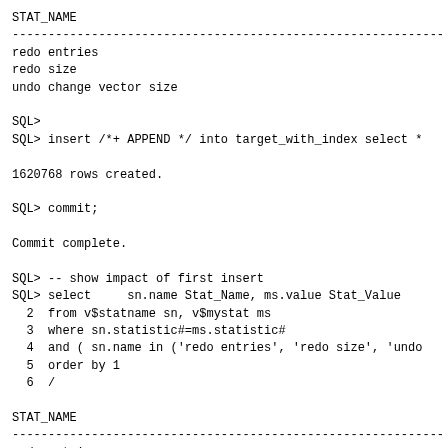STAT_NAME
------------------------------------------------------------
redo entries
redo size
undo change vector size

SQL>
SQL> insert /*+ APPEND */ into target_with_index select *

1620768 rows created.

SQL> commit;

Commit complete.

SQL> -- show impact of first insert
SQL> select     sn.name Stat_Name, ms.value Stat_Value
  2  from v$statname sn, v$mystat ms
  3  where sn.statistic#=ms.statistic#
  4  and ( sn.name in ('redo entries', 'redo size', 'undo
  5  order by 1
  6  /

STAT_NAME
------------------------------------------------------------
redo entries